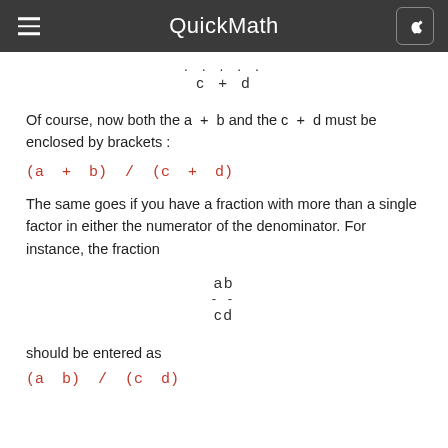QuickMath
Of course, now both the a + b and the c + d must be enclosed by brackets :
The same goes if you have a fraction with more than a single factor in either the numerator of the denominator. For instance, the fraction
should be entered as